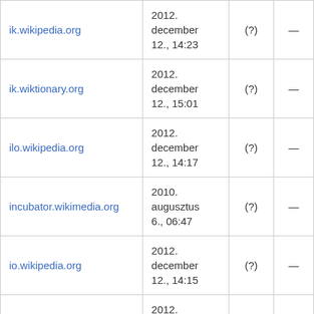| ik.wikipedia.org | 2012. december 12., 14:23 | (?) | — |
| ik.wiktionary.org | 2012. december 12., 15:01 | (?) | — |
| ilo.wikipedia.org | 2012. december 12., 14:17 | (?) | — |
| incubator.wikimedia.org | 2010. augusztus 6., 06:47 | (?) | — |
| io.wikipedia.org | 2012. december 12., 14:15 | (?) | — |
|  | 2012. |  |  |